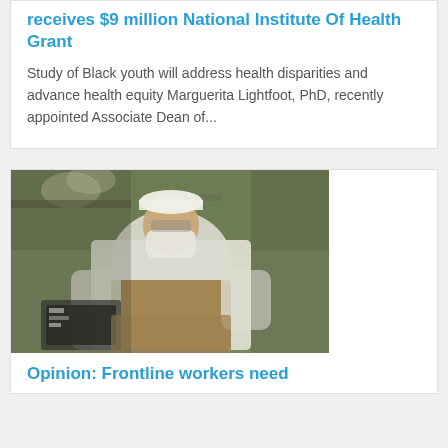receives $9 million National Institute Of Health Grant
Study of Black youth will address health disparities and advance health equity Marguerita Lightfoot, PhD, recently appointed Associate Dean of...
[Figure (photo): Frontline worker wearing white uniform, mask, and white cap working in a food service or kitchen environment]
Opinion: Frontline workers need